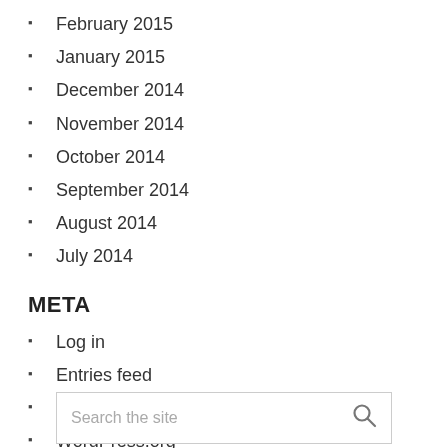February 2015
January 2015
December 2014
November 2014
October 2014
September 2014
August 2014
July 2014
META
Log in
Entries feed
Comments feed
WordPress.org